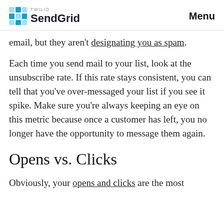TWILIO SendGrid  Menu
email, but they aren't designating you as spam.
Each time you send mail to your list, look at the unsubscribe rate. If this rate stays consistent, you can tell that you've over-messaged your list if you see it spike. Make sure you're always keeping an eye on this metric because once a customer has left, you no longer have the opportunity to message them again.
Opens vs. Clicks
Obviously, your opens and clicks are the most